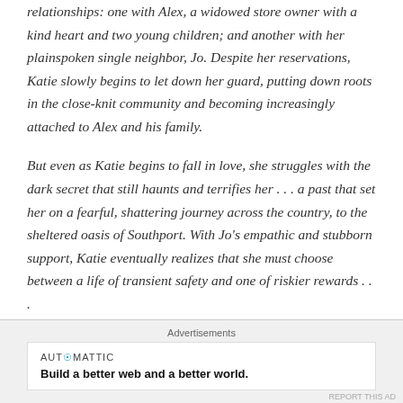relationships: one with Alex, a widowed store owner with a kind heart and two young children; and another with her plainspoken single neighbor, Jo. Despite her reservations, Katie slowly begins to let down her guard, putting down roots in the close-knit community and becoming increasingly attached to Alex and his family.
But even as Katie begins to fall in love, she struggles with the dark secret that still haunts and terrifies her . . . a past that set her on a fearful, shattering journey across the country, to the sheltered oasis of Southport. With Jo's empathic and stubborn support, Katie eventually realizes that she must choose between a life of transient safety and one of riskier rewards . . .
Advertisements
[Figure (other): Advertisement banner for Automattic with slogan 'Build a better web and a better world.']